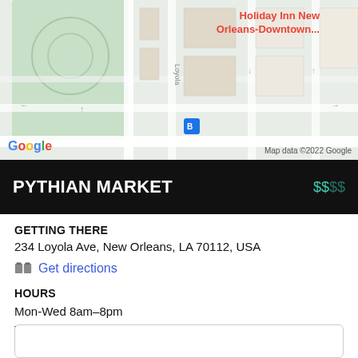[Figure (map): Google Maps screenshot showing area around 234 Loyola Ave, New Orleans, with Holiday Inn New Orleans-Downtown label visible in red, Google logo in bottom left, and map data credit in bottom right.]
PYTHIAN MARKET  $$$$
GETTING THERE
234 Loyola Ave, New Orleans, LA 70112, USA
Get directions
HOURS
Mon-Wed 8am–8pm
Thu-Sat 8am–9pm
Sun 8am–3pm
CALL
(504) 481-9599
MORE INFO